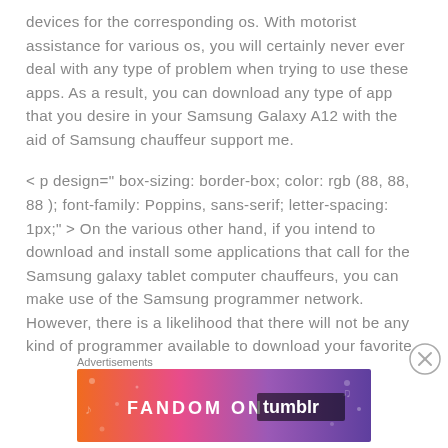devices for the corresponding os. With motorist assistance for various os, you will certainly never ever deal with any type of problem when trying to use these apps. As a result, you can download any type of app that you desire in your Samsung Galaxy A12 with the aid of Samsung chauffeur support me.
< p design=" box-sizing: border-box; color: rgb (88, 88, 88 ); font-family: Poppins, sans-serif; letter-spacing: 1px;" > On the various other hand, if you intend to download and install some applications that call for the Samsung galaxy tablet computer chauffeurs, you can make use of the Samsung programmer network. However, there is a likelihood that there will not be any kind of programmer available to download your favorite
Advertisements
[Figure (other): Fandom on Tumblr advertisement banner with colorful gradient background (orange to purple) and white text]